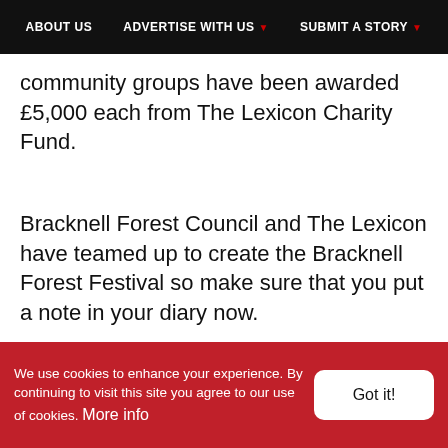ABOUT US | ADVERTISE WITH US | SUBMIT A STORY
community groups have been awarded £5,000 each from The Lexicon Charity Fund.
Bracknell Forest Council and The Lexicon have teamed up to create the Bracknell Forest Festival so make sure that you put a note in your diary now.
[Figure (photo): Photo showing a tree-like creature/sculpture in front of an M&S store with teal striped facade]
We use cookies to enhance your experience. By continuing to visit this site you agree to our use of cookies. More info